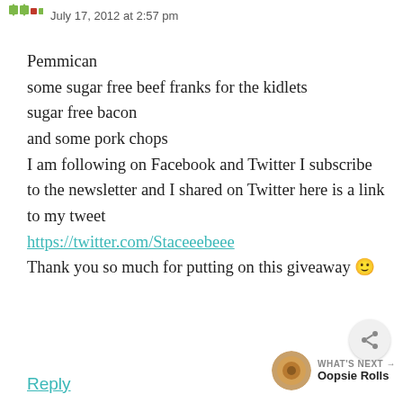July 17, 2012 at 2:57 pm
Pemmican
some sugar free beef franks for the kidlets
sugar free bacon
and some pork chops
I am following on Facebook and Twitter I subscribe to the newsletter and I shared on Twitter here is a link to my tweet
https://twitter.com/Staceeebeee
Thank you so much for putting on this giveaway 🙂
Reply